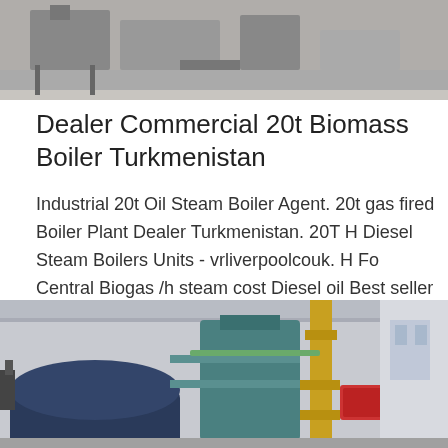[Figure (photo): Industrial machinery or equipment in a factory/workshop setting, black and white tones, partially visible at top of page.]
Dealer Commercial 20t Biomass Boiler Turkmenistan
Industrial 20t Oil Steam Boiler Agent. 20t gas fired Boiler Plant Dealer Turkmenistan. 20T H Diesel Steam Boilers Units - vrliverpoolcouk. H Fo Central Biogas /h steam cost Diesel oil Best seller 05-/h and oil steam mini biogas 50t/...
Get Price
[Figure (photo): Industrial boiler plant in a large factory interior, featuring blue and yellow equipment and piping.]